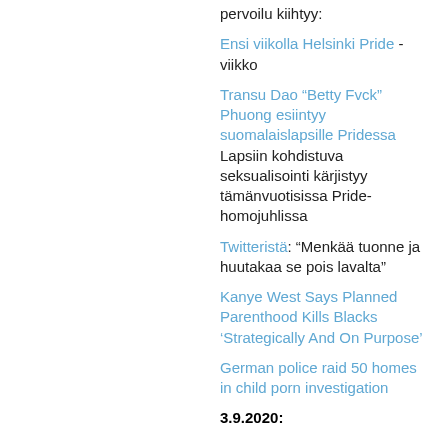pervoilu kiihtyy:
Ensi viikolla Helsinki Pride -viikko
Transu Dao “Betty Fvck” Phuong esiintyy suomalaislapsiülle Pridessa Lapsiin kohdistuva seksualisointi kärjistyy tämänvuotisissa Pride-homojuhlissa
Twitteristä: “Menkää tuonne ja huutakaa se pois lavalta”
Kanye West Says Planned Parenthood Kills Blacks ‘Strategically And On Purpose’
German police raid 50 homes in child porn investigation
3.9.2020: